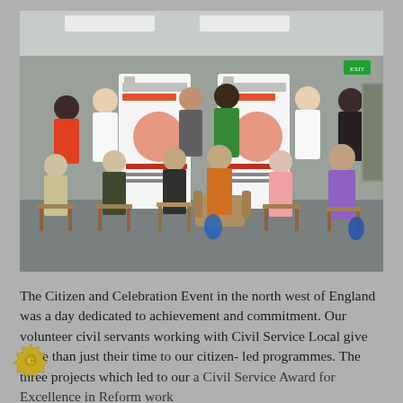[Figure (photo): Group photo of volunteer civil servants and citizens at the Citizen and Celebration Event in the north west of England. People are seated and standing in front of Civil Service Live banners in an office or community room setting.]
The Citizen and Celebration Event in the north west of England was a day dedicated to achievement and commitment. Our volunteer civil servants working with Civil Service Local give more than just their time to our citizen-led programmes. The three projects which led to our a Civil Service Award for Excellence in Reform work